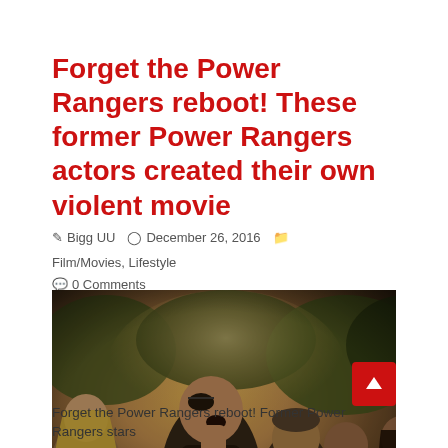Forget the Power Rangers reboot! These former Power Rangers actors created their own violent movie
Bigg UU   December 26, 2016   Film/Movies, Lifestyle
0 Comments
[Figure (photo): Group of people in a dramatic outdoor scene; a man wearing an eye patch in the foreground yelling, with others standing behind him in a wooded area with warm backlighting.]
Forget the Power Rangers reboot! Former Power Rangers stars